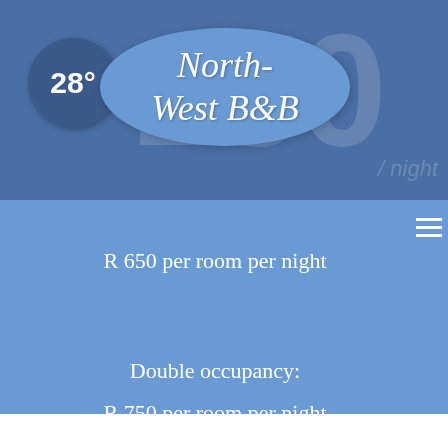28° North-West B&B
R 650 per room per night
Double occupancy:
R 750 per room per night
BOOK NOW